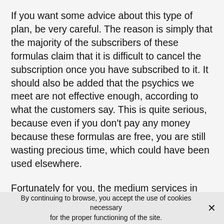If you want some advice about this type of plan, be very careful. The reason is simply that the majority of the subscribers of these formulas claim that it is difficult to cancel the subscription once you have subscribed to it. It should also be added that the psychics we meet are not effective enough, according to what the customers say. This is quite serious, because even if you don't pay any money because these formulas are free, you are still wasting precious time, which could have been used elsewhere.
Fortunately for you, the medium services in Newport we offer spares you these worries and guarantees you outstanding efficiency. If you are not strong-minded and hard to fool, you can very easily be fooled by the misdirection of psychics or charlatans. So note that a free psychic reading can be useless in the end if the psychic's
By continuing to browse, you accept the use of cookies necessary for the proper functioning of the site.